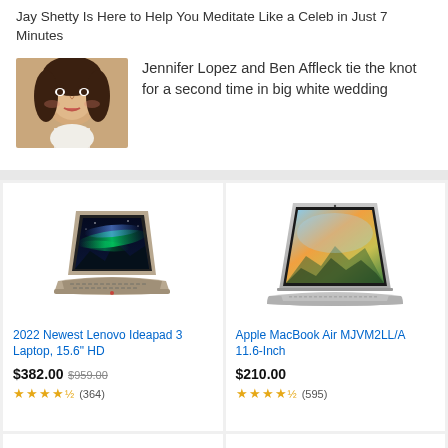Jay Shetty Is Here to Help You Meditate Like a Celeb in Just 7 Minutes
[Figure (photo): Thumbnail photo of a woman (Jennifer Lopez) smiling]
Jennifer Lopez and Ben Affleck tie the knot for a second time in big white wedding
[Figure (photo): Lenovo Ideapad laptop product image with aurora borealis wallpaper on screen]
2022 Newest Lenovo Ideapad 3 Laptop, 15.6" HD
$382.00 $959.00
★★★★½ (364)
[Figure (photo): Apple MacBook Air product image showing slim silver laptop open]
Apple MacBook Air MJVM2LL/A 11.6-Inch
$210.00
★★★★½ (595)